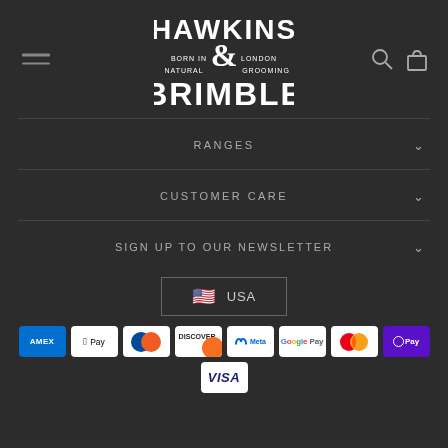[Figure (logo): Hawkins & Brimble logo - white text on dark background, stylized ampersand, 'Born in London, Natural Grooming' tagline]
RANGES
CUSTOMER CARE
SIGN UP TO OUR NEWSLETTER
[Figure (infographic): USA country selector button with US flag emoji]
[Figure (infographic): Payment method icons: AMEX, Apple Pay, Diners, Discover, Meta Pay, Google Pay, Mastercard, OPay, Visa]